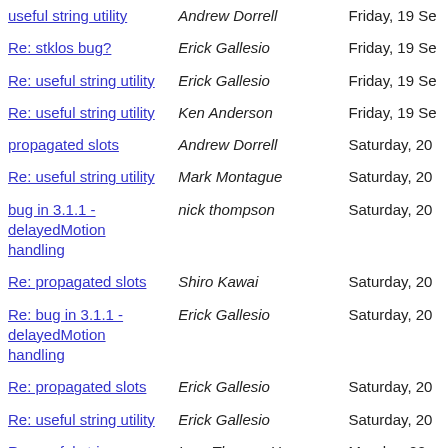| Subject | Author | Date |
| --- | --- | --- |
| useful string utility | Andrew Dorrell | Friday, 19 Se |
| Re: stklos bug? | Erick Gallesio | Friday, 19 Se |
| Re: useful string utility | Erick Gallesio | Friday, 19 Se |
| Re: useful string utility | Ken Anderson | Friday, 19 Se |
| propagated slots | Andrew Dorrell | Saturday, 20 |
| Re: useful string utility | Mark Montague | Saturday, 20 |
| bug in 3.1.1 - delayedMotion handling | nick thompson | Saturday, 20 |
| Re: propagated slots | Shiro Kawai | Saturday, 20 |
| Re: bug in 3.1.1 - delayedMotion handling | Erick Gallesio | Saturday, 20 |
| Re: propagated slots | Erick Gallesio | Saturday, 20 |
| Re: useful string utility | Erick Gallesio | Saturday, 20 |
| Re: useful string | Lars Thomas Hansen | Monday, 22 |